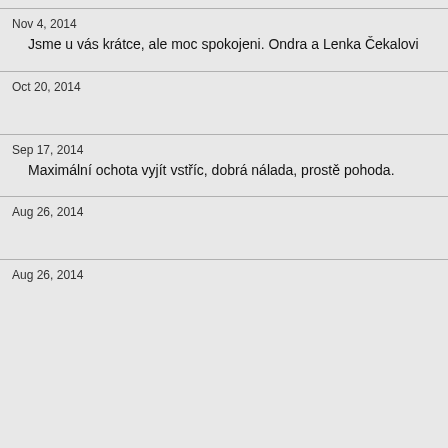Nov 4, 2014
Jsme u vás krátce, ale moc spokojeni. Ondra a Lenka Čekalovi
Oct 20, 2014
Sep 17, 2014
Maximální ochota vyjít vstříc, dobrá nálada, prostě pohoda.
Aug 26, 2014
Aug 26, 2014